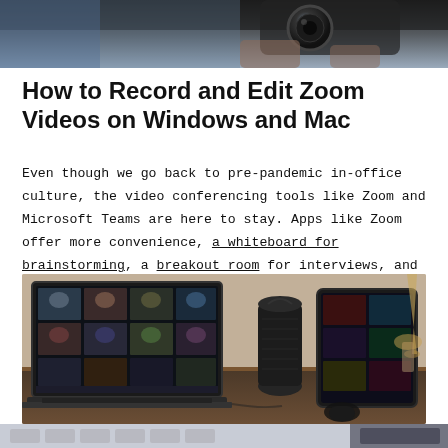[Figure (photo): Top portion of a photo showing a camera/photography scene with dark background]
How to Record and Edit Zoom Videos on Windows and Mac
Even though we go back to pre-pandemic in-office culture, the video conferencing tools like Zoom and Microsoft Teams are here to stay. Apps like Zoom offer more convenience, a whiteboard for brainstorming, a breakout room for interviews, and even th
[Figure (photo): Photo of a laptop showing a Zoom video call with multiple participants in gallery view, a Bluetooth speaker, and a tablet showing media content, all on a wooden desk]
[Figure (photo): Bottom partial photo showing a keyboard and device, partially cut off at page bottom]